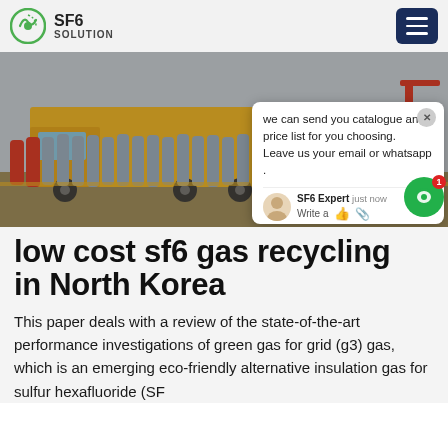SF6 SOLUTION
[Figure (photo): Yellow industrial truck with gas cylinders lined up in front, in an outdoor industrial area. A chat popup overlay is visible on the right side of the image saying: 'we can send you catalogue and price list for you choosing. Leave us your email or whatsapp .' with SF6 Expert chat interface below.]
low cost sf6 gas recycling in North Korea
This paper deals with a review of the state-of-the-art performance investigations of green gas for grid (g3) gas, which is an emerging eco-friendly alternative insulation gas for sulfur hexafluoride (SF